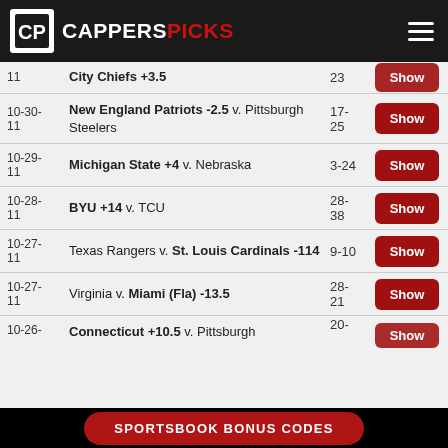CAPPERS PICKS
| Date | Pick | Score | Action |
| --- | --- | --- | --- |
| 11 | City Chiefs +3.5 | 23 | Show |
| 10-30-11 | New England Patriots -2.5 v. Pittsburgh Steelers | 17-25 | Show |
| 10-29-11 | Michigan State +4 v. Nebraska | 3-24 | Show |
| 10-28-11 | BYU +14 v. TCU | 28-38 | Show |
| 10-27-11 | Texas Rangers v. St. Louis Cardinals -114 | 9-10 | Show |
| 10-27-11 | Virginia v. Miami (Fla) -13.5 | 28-21 | Show |
| 10-26-11 | Connecticut +10.5 v. Pittsburgh | 20- | Show |
SPORTSBOOK BONUS CODES